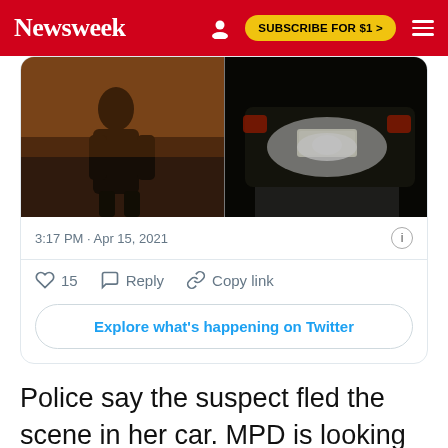Newsweek  SUBSCRIBE FOR $1 >
[Figure (screenshot): Tweet screenshot showing two dark nighttime photos side by side: left image shows a person's silhouette against an orange/amber wall; right image shows a car from behind with bright headlights/taillights. Below the images: '3:17 PM · Apr 15, 2021' with an info icon, a heart icon with '15', Reply, Copy link actions, and an 'Explore what's happening on Twitter' button.]
Police say the suspect fled the scene in her car. MPD is looking for the woman, who is described as being Black with long curly hair. Police say...